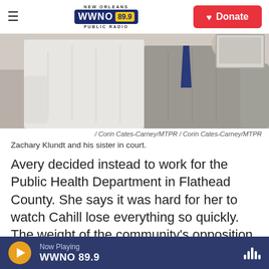WWNO 89.9 | NEW ORLEANS PUBLIC RADIO | Donate
[Figure (photo): Two people standing in court, viewed from behind. One wearing a white t-shirt, another in a grey vest with a tie.]
/ Corin Cates-Carney/MTPR / Corin Cates-Carney/MTPR
Zachary Klundt and his sister in court.
Avery decided instead to work for the Public Health Department in Flathead County. She says it was hard for her to watch Cahill lose everything so quickly. The weight of the community's opposition to abortion is difficult to counter, she says — citing Zachary Klundt...
Now Playing WWNO 89.9